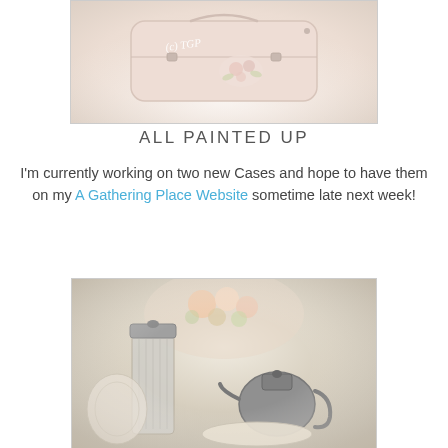[Figure (photo): A pale pink painted suitcase/train case with floral rose designs on the front, photographed on a white lacy surface. A watermark reads '(c) TGP' in white italic text.]
ALL PAINTED UP
I'm currently working on two new Cases and hope to have them on my A Gathering Place Website sometime late next week!
[Figure (photo): A vintage still-life photograph featuring a tall glass pitcher with a silver-toned lid, a silver teapot/creamer, decorative china plates, and an arrangement of flowers including roses and greenery in the background.]